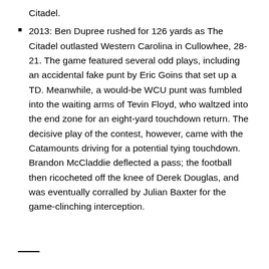Citadel.
2013: Ben Dupree rushed for 126 yards as The Citadel outlasted Western Carolina in Cullowhee, 28-21. The game featured several odd plays, including an accidental fake punt by Eric Goins that set up a TD. Meanwhile, a would-be WCU punt was fumbled into the waiting arms of Tevin Floyd, who waltzed into the end zone for an eight-yard touchdown return. The decisive play of the contest, however, came with the Catamounts driving for a potential tying touchdown. Brandon McCladdie deflected a pass; the football then ricocheted off the knee of Derek Douglas, and was eventually corralled by Julian Baxter for the game-clinching interception.